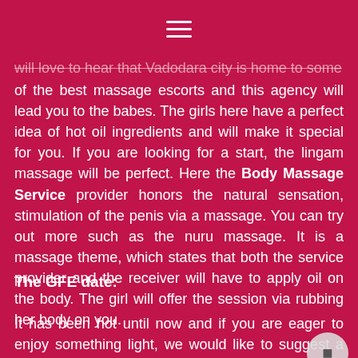≡
will love to hear that Vadodara city is home to some of the best massage escorts and this agency will lead you to the babes. The girls here have a perfect idea of hot oil ingredients and will make it special for you. If you are looking for a start, the lingam massage will be perfect. Here the Body Massage Service provider honors the natural sensation, stimulation of the penis via a massage. You can try out more such as the nuru massage. It is a massage theme, which states that both the service provider and the receiver will have to apply oil on the body. The girl will offer the session via rubbing her body on you.
The GFE date:
It has been hot until now and if you are eager to enjoy something light, we would like to suggest a GFE with the Escorts in Jalandhar. This is a